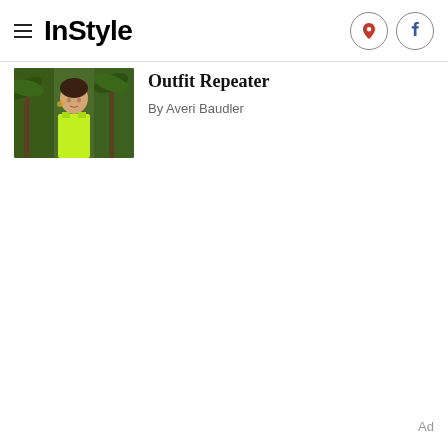InStyle
[Figure (photo): Woman wearing a neon green top outdoors with palm trees in background]
Outfit Repeater
By Averi Baudler
Ad